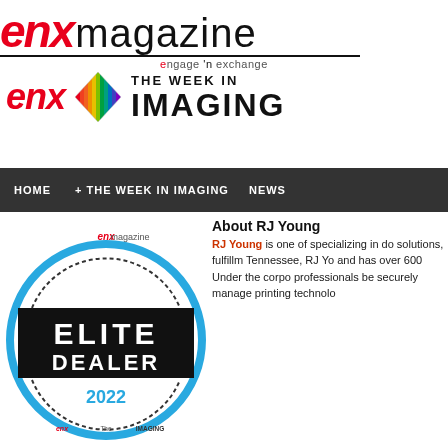[Figure (logo): ENX Magazine logo with 'engage n exchange' tagline]
[Figure (logo): ENX The Week in Imaging logo with rainbow diamond graphic]
HOME  + THE WEEK IN IMAGING  NEWS
[Figure (logo): ENX Magazine Elite Dealer 2022 badge/seal]
About RJ Young
RJ Young is one of specializing in do solutions, fulfillm Tennessee, RJ Yo and has over 600 Under the corpo professionals be securely manage printing technolo